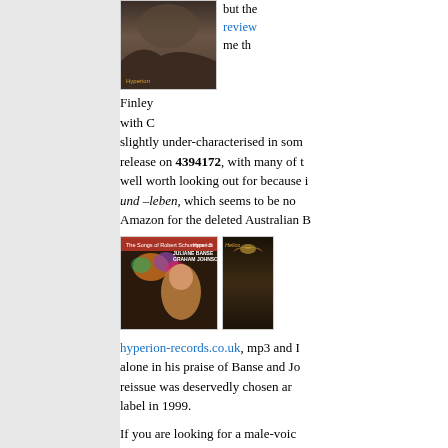[Figure (photo): Album cover image at top, dark mountainous/rocky scene with Hyperion label]
but the review me th
Finley with C slightly under-characterised in some release on 4394172, with many of t well worth looking out for because i und –leben, which seems to be no Amazon for the deleted Australian B
[Figure (photo): Album cover: The Songs of Robert Schumann - 5, Juliane Banse, Graham Johnson, Hyperion. Woman with flowers.]
[Figure (photo): Partial album cover: Helios label, dark forested scene]
hyperion-records.co.uk, mp3 and I alone in his praise of Banse and Jo reissue was deservedly chosen ar label in 1999.
If you are looking for a male-voic Hyperion ride to the rescue yet a